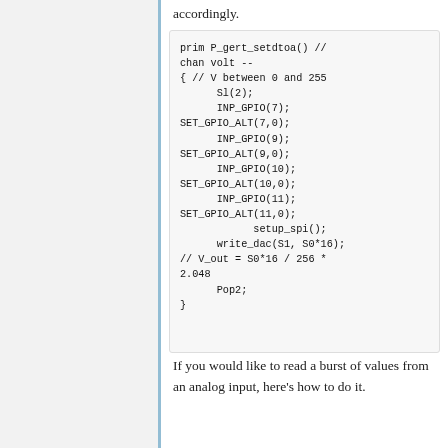accordingly.
prim P_gert_setdtoa() // chan volt --
{ // V between 0 and 255
      Sl(2);
      INP_GPIO(7);
SET_GPIO_ALT(7,0);
      INP_GPIO(9);
SET_GPIO_ALT(9,0);
      INP_GPIO(10);
SET_GPIO_ALT(10,0);
      INP_GPIO(11);
SET_GPIO_ALT(11,0);
            setup_spi();
      write_dac(S1, S0*16);
// V_out = S0*16 / 256 * 2.048
      Pop2;
}
If you would like to read a burst of values from an analog input, here's how to do it.